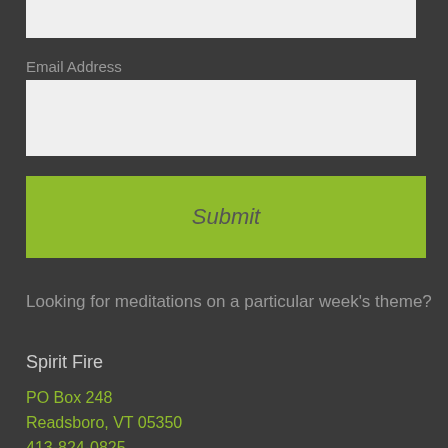[Figure (screenshot): A text input field (form element) at the top of the page, light gray background]
Email Address
[Figure (screenshot): An email address text input field, light gray background]
[Figure (screenshot): A green Submit button with italic text]
Looking for meditations on a particular week's theme?
Spirit Fire
PO Box 248
Readsboro, VT 05350
413-824-0825
meditation@spiritfire.com